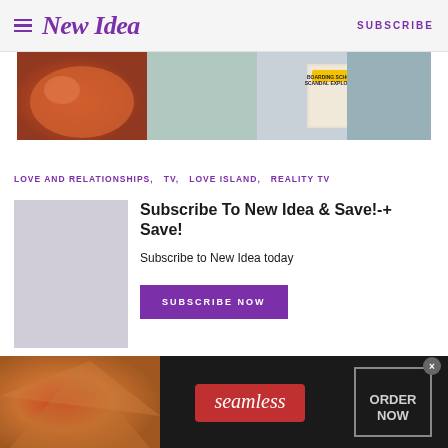New Idea   SUBSCRIBE
[Figure (photo): New Idea magazine banner advertisement showing food dish, person in grey coat, and magazine cover with headline BOARDING SCHOOL SCANDAL EXPLODES!]
LOVE AND RELATIONSHIPS,   TV,   LOVE ISLAND,   REALITY TV
Subscribe To New Idea & Save!-+ Save!
Subscribe to New Idea today
SUBSCRIBE NOW
[Figure (photo): Seamless food delivery advertisement showing pizza slices on dark background with seamless logo and ORDER NOW button]